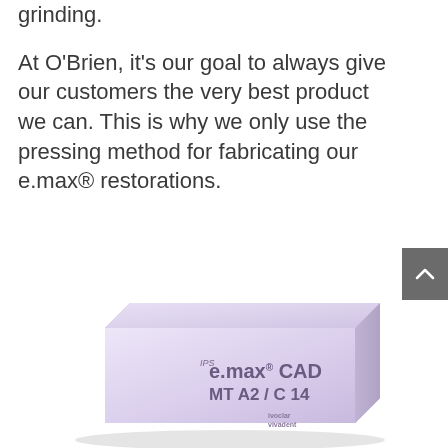grinding.
At O'Brien, it's our goal to always give our customers the very best product we can. This is why we only use the pressing method for fabricating our e.max® restorations.
[Figure (photo): A lavender/light purple rectangular block labeled 'IPS e.max CAD MT A2/C 14' by Ivoclar Vivadent, shown at a slight angle on a white background.]